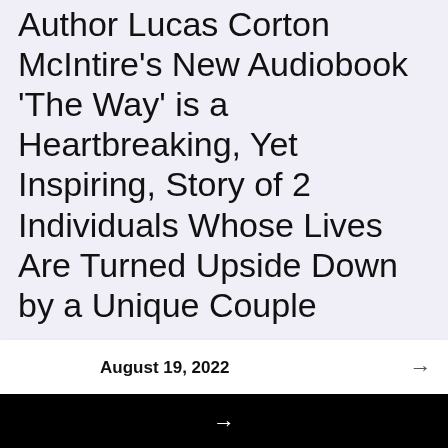Author Lucas Corton McIntire's New Audiobook 'The Way' is a Heartbreaking, Yet Inspiring, Story of 2 Individuals Whose Lives Are Turned Upside Down by a Unique Couple
August 19, 2022
← Nikki Bella Brings Wrestling to AGT: Extreme | AGT: Extreme 2022
→